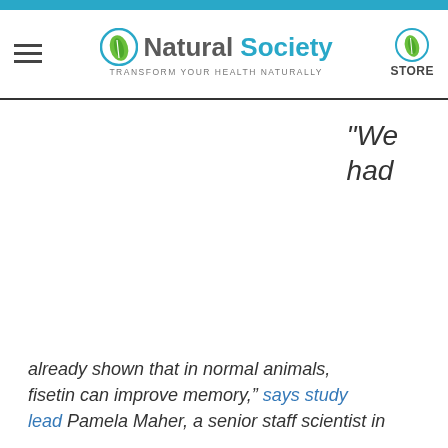Natural Society — Transform your health naturally | STORE
“We had
already shown that in normal animals, fisetin can improve memory,” says study lead Pamela Maher, a senior staff scientist in